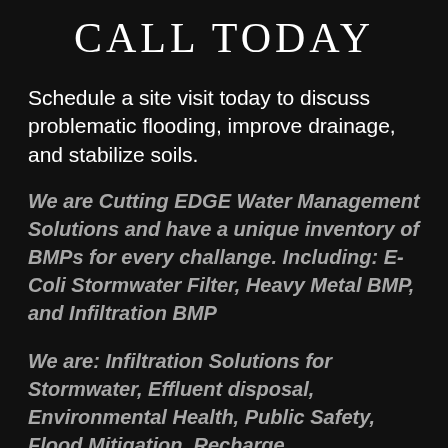CALL TODAY
Schedule a site visit today to discuss problematic flooding, improve drainage, and stabilize soils.
We are Cutting EDGE Water Management Solutions and have a unique inventory of BMPs for every challange. Including: E-Coli Stormwater Filter, Heavy Metal BMP, and Infiltration BMP
We are: Infiltration Solutions for Stormwater, Effluent disposal, Environmental Health, Public Safety, Flood Mitigation, Recharge,